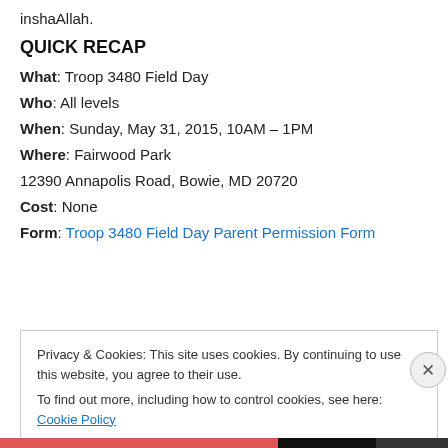inshaAllah.
QUICK RECAP
What: Troop 3480 Field Day
Who: All levels
When: Sunday, May 31, 2015, 10AM – 1PM
Where: Fairwood Park
12390 Annapolis Road, Bowie, MD 20720
Cost: None
Form: Troop 3480 Field Day Parent Permission Form
Privacy & Cookies: This site uses cookies. By continuing to use this website, you agree to their use. To find out more, including how to control cookies, see here: Cookie Policy